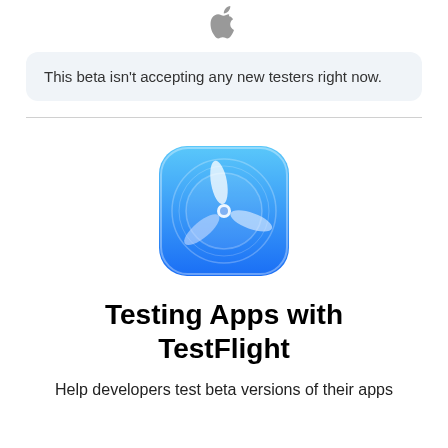[Figure (logo): Apple logo (gray) at top center of page]
This beta isn't accepting any new testers right now.
[Figure (logo): TestFlight app icon — blue rounded square with white propeller/fan blade design]
Testing Apps with TestFlight
Help developers test beta versions of their apps